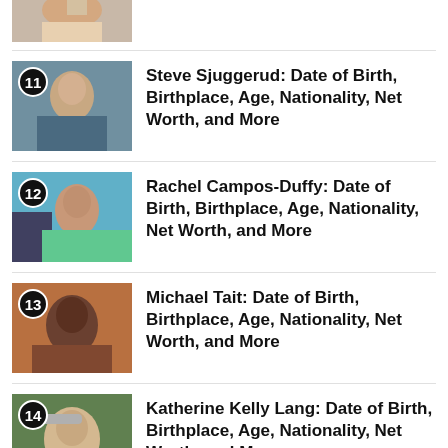[Figure (photo): Partial photo of a person at top of page (item 10, cropped)]
11 Steve Sjuggerud: Date of Birth, Birthplace, Age, Nationality, Net Worth, and More
12 Rachel Campos-Duffy: Date of Birth, Birthplace, Age, Nationality, Net Worth, and More
13 Michael Tait: Date of Birth, Birthplace, Age, Nationality, Net Worth, and More
14 Katherine Kelly Lang: Date of Birth, Birthplace, Age, Nationality, Net Worth, and More